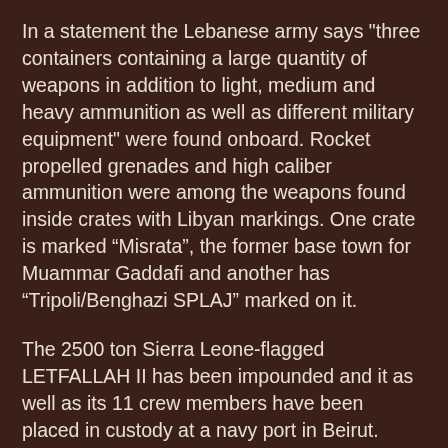In a statement the Lebanese army says "three containers containing a large quantity of weapons in addition to light, medium and heavy ammunition as well as different military equipment" were found onboard. Rocket propelled grenades and high caliber ammunition were among the weapons found inside crates with Libyan markings. One crate is marked “Misrata”, the former base town for Muammar Gaddafi and another has “Tripoli/Benghazi SPLAJ” marked on it.
The 2500 ton Sierra Leone-flagged LETFALLAH II has been impounded and it as well as its 11 crew members have been placed in custody at a navy port in Beirut.
Tripoli has seen many demonstrations in support of the uprising against Syrian President Bashar al-Assad and officials believe it is likely that arms are being smuggled to anti-Assad rebels.
Last month, Russia accused Libya of arming and training Syrian rebels. In response to these accusations, Libya’s Prime Minister Abdurrahim El-Keib said that he is not sure...